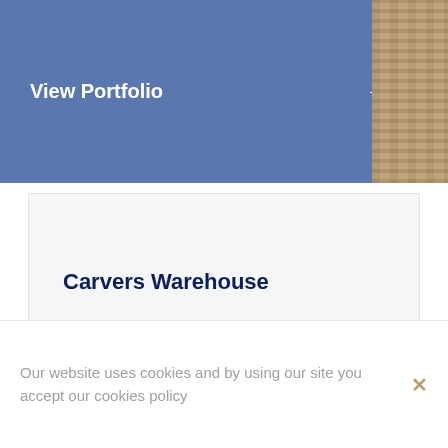[Figure (screenshot): Blue banner with 'View Portfolio' text and right arrow, with a stone/brick texture photo on the right side]
View Portfolio →
Carvers Warehouse
Our website uses cookies and by using our site you accept our cookies policy